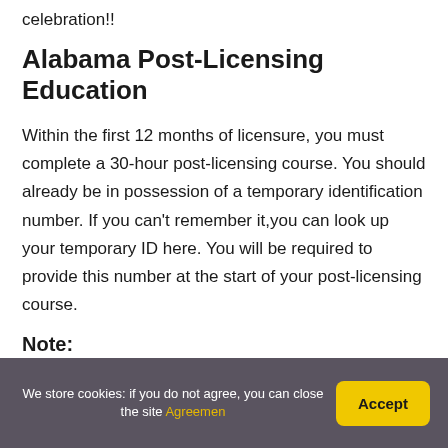celebration!!
Alabama Post-Licensing Education
Within the first 12 months of licensure, you must complete a 30-hour post-licensing course. You should already be in possession of a temporary identification number. If you can't remember it,you can look up your temporary ID here. You will be required to provide this number at the start of your post-licensing course.
Note:
We store cookies: if you do not agree, you can close the site Agreemen